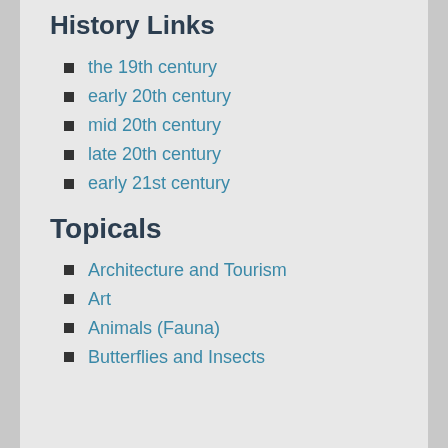History Links
the 19th century
early 20th century
mid 20th century
late 20th century
early 21st century
Topicals
Architecture and Tourism
Art
Animals (Fauna)
Butterflies and Insects